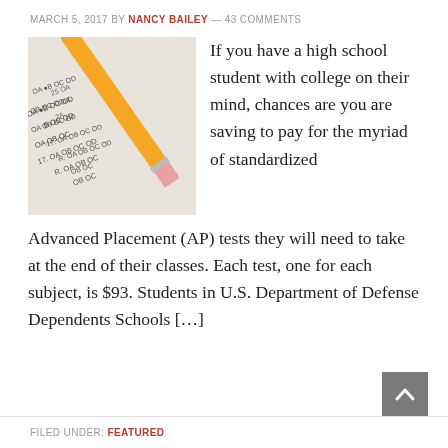MARCH 5, 2017 BY NANCY BAILEY — 43 COMMENTS
[Figure (photo): A pencil pointing at a multiple-choice test answer sheet with bubbled answers visible]
If you have a high school student with college on their mind, chances are you are saving to pay for the myriad of standardized Advanced Placement (AP) tests they will need to take at the end of their classes. Each test, one for each subject, is $93. Students in U.S. Department of Defense Dependents Schools [...]
FILED UNDER: FEATURED